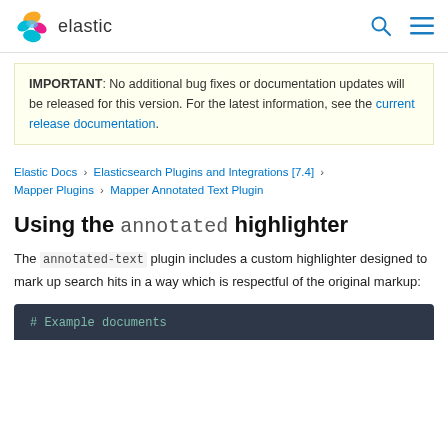elastic
IMPORTANT: No additional bug fixes or documentation updates will be released for this version. For the latest information, see the current release documentation.
Elastic Docs › Elasticsearch Plugins and Integrations [7.4] › Mapper Plugins › Mapper Annotated Text Plugin
Using the annotated highlighter
The annotated-text plugin includes a custom highlighter designed to mark up search hits in a way which is respectful of the original markup:
# Example documents